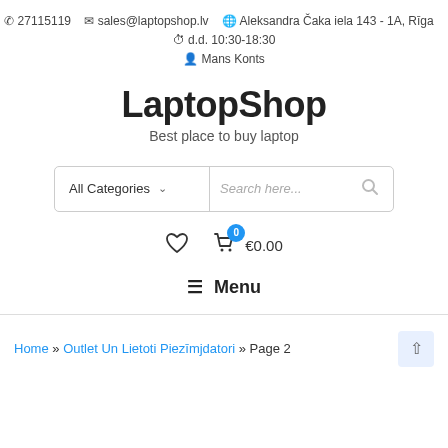27115119  sales@laptopshop.lv  Aleksandra Čaka iela 143 - 1A, Rīga  d.d. 10:30-18:30  Mans Konts
LaptopShop
Best place to buy laptop
All Categories  Search here...
0  €0.00
Menu
Home » Outlet Un Lietoti Piezīmjdatori » Page 2